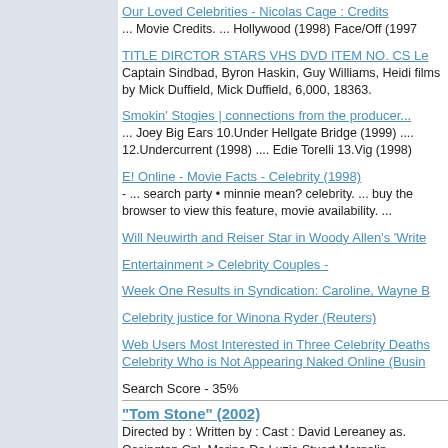Our Loved Celebrities - Nicolas Cage : Credits
... Movie Credits. ... Hollywood (1998) Face/Off (1997
TITLE DIRCTOR STARS VHS DVD ITEM NO. CS Le
Captain Sindbad, Byron Haskin, Guy Williams, Heidi films by Mick Duffield, Mick Duffield, 6,000, 18363.
Smokin' Stogies | connections from the producer...
... Joey Big Ears 10.Under Hellgate Bridge (1999) .... 12.Undercurrent (1998) .... Edie Torelli 13.Vig (1998)
E! Online - Movie Facts - Celebrity (1998)
 - ... search party • minnie mean? celebrity. ... buy the browser to view this feature, movie availability. ...
Will Neuwirth and Reiser Star in Woody Allen's 'Write
Entertainment > Celebrity Couples -
Week One Results in Syndication: Caroline, Wayne B
Celebrity justice for Winona Ryder (Reuters)
Web Users Most Interested in Three Celebrity Deaths
Celebrity Who is Not Appearing Naked Online (Busin
Search Score - 35%
"Tom Stone" (2002)
Directed by : Written by : Cast : David Lereaney as. Ossington Cpl. Marina De Luzio Stuart Margolin
Deep Search for "Tom Stone" (2002)
Actors playing Don...